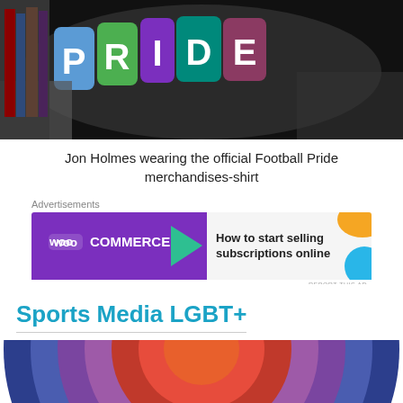[Figure (photo): Photo of Jon Holmes wearing the official Football Pride merchandise shirt, showing colorful PRIDE letters against a dark background]
Jon Holmes wearing the official Football Pride merchandises-shirt
[Figure (screenshot): WooCommerce advertisement banner: 'How to start selling subscriptions online']
Sports Media LGBT+
[Figure (illustration): Concentric semicircles in blue, purple, red, and orange representing Sports Media LGBT+ logo]